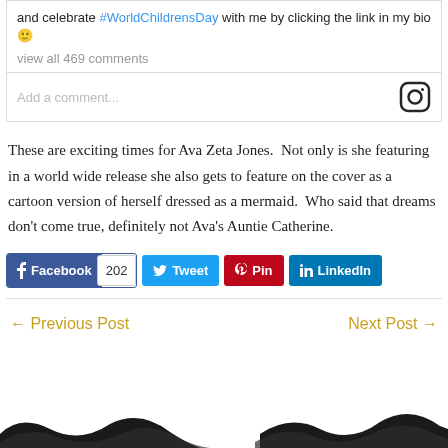and celebrate #WorldChildrensDay with me by clicking the link in my bio 🙂
view all 469 comments
Add a comment...
These are exciting times for Ava Zeta Jones.  Not only is she featuring in a world wide release she also gets to feature on the cover as a cartoon version of herself dressed as a mermaid.  Who said that dreams don't come true, definitely not Ava's Auntie Catherine.
[Figure (screenshot): Social share buttons: Facebook (202), Tweet, Pin, LinkedIn]
← Previous Post
Next Post →
[Figure (illustration): Dark wave decorative graphic at bottom of page]